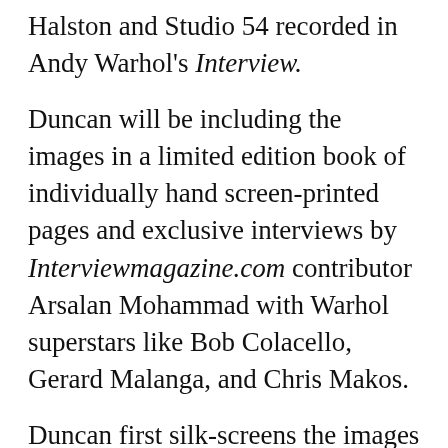Halston and Studio 54 recorded in Andy Warhol's Interview.
Duncan will be including the images in a limited edition book of individually hand screen-printed pages and exclusive interviews by Interviewmagazine.com contributor Arsalan Mohammad with Warhol superstars like Bob Colacello, Gerard Malanga, and Chris Makos.
Duncan first silk-screens the images from Interview as an overt homage to Warhol's own technique. He then